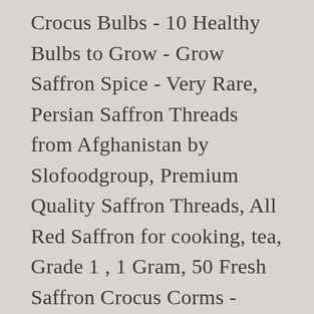Crocus Bulbs - 10 Healthy Bulbs to Grow - Grow Saffron Spice - Very Rare, Persian Saffron Threads from Afghanistan by Slofoodgroup, Premium Quality Saffron Threads, All Red Saffron for cooking, tea, Grade 1 , 1 Gram, 50 Fresh Saffron Crocus Corms - Saffron Sativus Crocus Bulbs, 5 Jumbo Saffron Crocus - Crocus Sativus Corms Bulbs - 9-10 Cm - May California Harvest, PRE Order for Spring (ASF3) Crocus (Bulbs) Flowering (Saffron Sativus), PRE Order for Spring (ALYF2) Crocus (Bulbs) (Sativus "Big Bunch" (Saffron )), 2 grams Grade A+ Organically Grown, 100% Pure Saffron, All-Red Saffron, Harvested by Hand Premium Persian Saffron Threads, Super Negin (All-